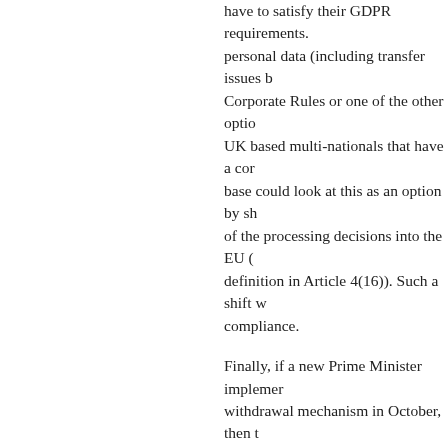have to satisfy their GDPR requirements. personal data (including transfer issues b Corporate Rules or one of the other optio UK based multi-nationals that have a co base could look at this as an option by s of the processing decisions into the EU ( definition in Article 4(16)). Such a shift w compliance.
Finally, if a new Prime Minister impleme withdrawal mechanism in October, then UK leaving (October 2018) extends after implemented by Member States (May 20 in pressing the A.50 brexit-button beyond merely serves to extends the time in whi Member of the EU having to implement i (including the GDPR by May 2018).
What is certain is that the current UK Da offer adequacy as it is based on Directive being repealed. It is clear from the Safe comments by the Article 29 Working Par Data Protection Board) is that the Board level of data protection when considering